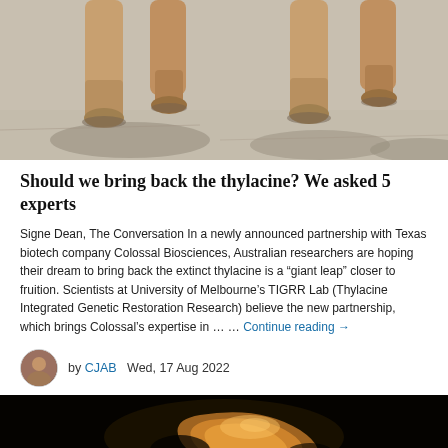[Figure (photo): Close-up photograph of animal legs (likely thylacine or similar animal) walking on a light-colored surface, casting shadows]
Should we bring back the thylacine? We asked 5 experts
Signe Dean, The Conversation In a newly announced partnership with Texas biotech company Colossal Biosciences, Australian researchers are hoping their dream to bring back the extinct thylacine is a “giant leap” closer to fruition. Scientists at University of Melbourne’s TIGRR Lab (Thylacine Integrated Genetic Restoration Research) believe the new partnership, which brings Colossal’s expertise in … … Continue reading →
by CJAB   Wed, 17 Aug 2022
[Figure (photo): Dark photograph showing what appears to be a close-up of an animal, possibly a coiled or curled creature against a black background with warm amber/golden tones]